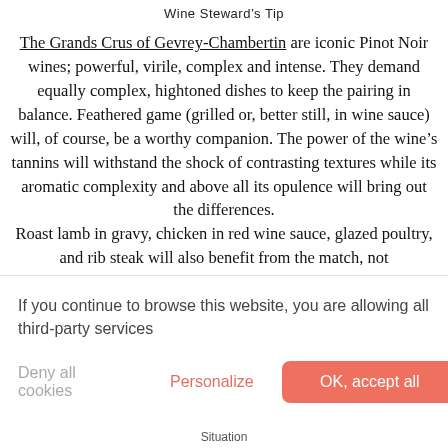Wine Steward's Tip
The Grands Crus of Gevrey-Chambertin are iconic Pinot Noir wines; powerful, virile, complex and intense. They demand equally complex, hightoned dishes to keep the pairing in balance. Feathered game (grilled or, better still, in wine sauce) will, of course, be a worthy companion. The power of the wine's tannins will withstand the shock of contrasting textures while its aromatic complexity and above all its opulence will bring out the differences.
Roast lamb in gravy, chicken in red wine sauce, glazed poultry, and rib steak will also benefit from the match, not f[...]ort
If you continue to browse this website, you are allowing all third-party services
Deny all cookies   Personalize   OK, accept all
Situation